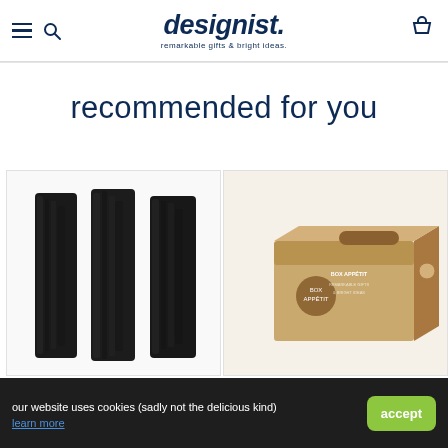designist. remarkable gifts & bright ideas.
recommended for you
[Figure (photo): Three pieces of dark charcoal sticks on white background]
[Figure (photo): Brown cardboard box labeled BOX APPETIT on white background]
our website uses cookies (sadly not the delicious kind)
learn more
accept